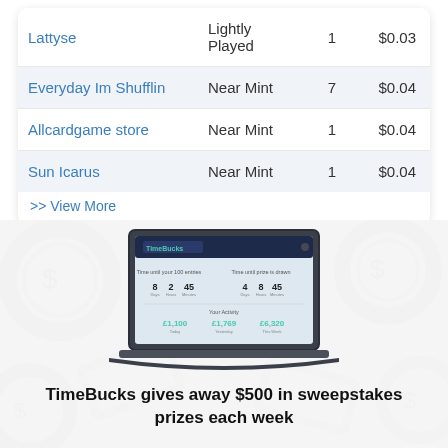| Seller | Condition | Qty | Price |
| --- | --- | --- | --- |
| Lattyse | Lightly Played | 1 | $0.03 |
| Everyday Im Shufflin | Near Mint | 7 | $0.04 |
| Allcardgame store | Near Mint | 1 | $0.04 |
| Sun Icarus | Near Mint | 1 | $0.04 |
>> View More
[Figure (screenshot): Laptop displaying a TimeBucks dashboard interface showing sweepstakes countdown timers and daily earnings figures.]
TimeBucks gives away $500 in sweepstakes prizes each week